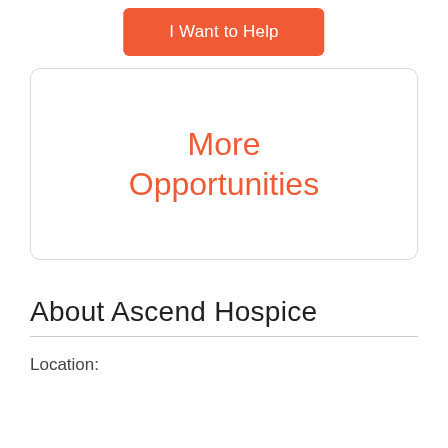I Want to Help
More Opportunities
About Ascend Hospice
Location: